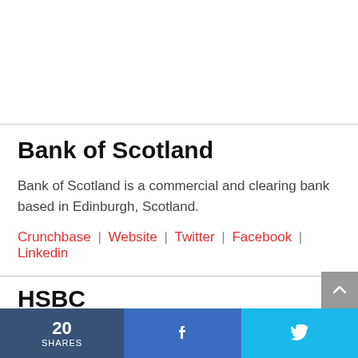Bank of Scotland
Bank of Scotland is a commercial and clearing bank based in Edinburgh, Scotland.
Crunchbase | Website | Twitter | Facebook | Linkedin
HSBC